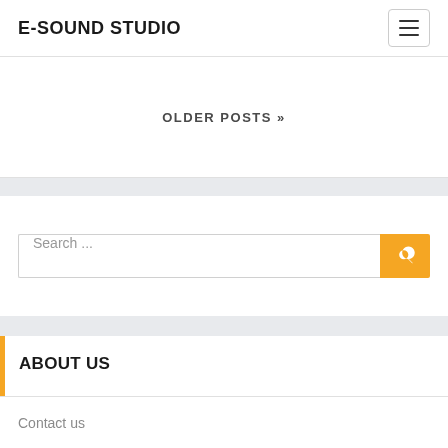E-SOUND STUDIO
OLDER POSTS »
Search ...
ABOUT US
Contact us
Advertise Here
Disclosure Policy